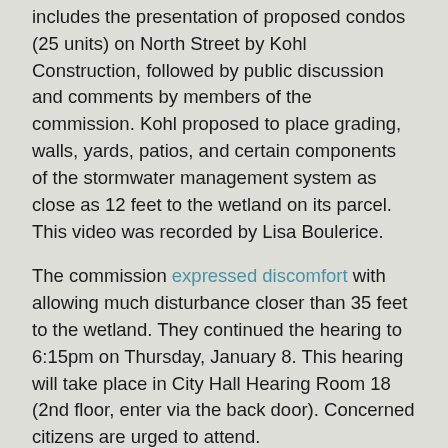includes the presentation of proposed condos (25 units) on North Street by Kohl Construction, followed by public discussion and comments by members of the commission. Kohl proposed to place grading, walls, yards, patios, and certain components of the stormwater management system as close as 12 feet to the wetland on its parcel. This video was recorded by Lisa Boulerice.
The commission expressed discomfort with allowing much disturbance closer than 35 feet to the wetland. They continued the hearing to 6:15pm on Thursday, January 8. This hearing will take place in City Hall Hearing Room 18 (2nd floor, enter via the back door). Concerned citizens are urged to attend.